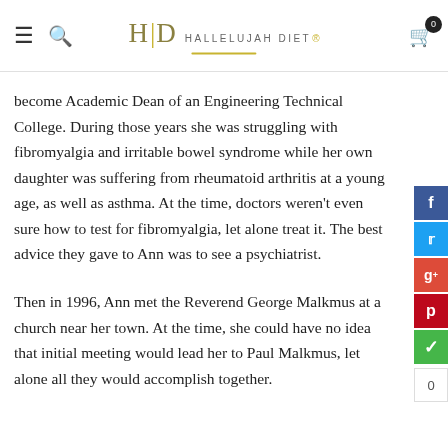Hallelujah Diet — navigation bar with logo, hamburger menu, search, and cart
become Academic Dean of an Engineering Technical College. During those years she was struggling with fibromyalgia and irritable bowel syndrome while her own daughter was suffering from rheumatoid arthritis at a young age, as well as asthma. At the time, doctors weren't even sure how to test for fibromyalgia, let alone treat it. The best advice they gave to Ann was to see a psychiatrist.
Then in 1996, Ann met the Reverend George Malkmus at a church near her town. At the time, she could have no idea that initial meeting would lead her to Paul Malkmus, let alone all they would accomplish together.